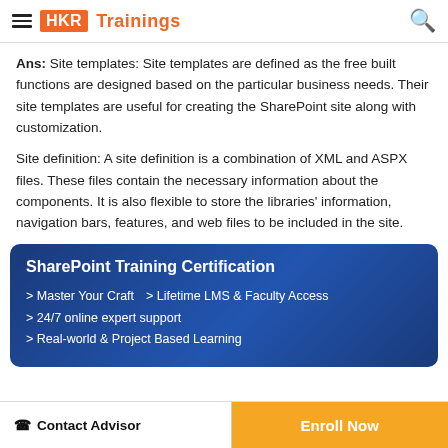HKR Trainings
Ans: Site templates: Site templates are defined as the free built functions are designed based on the particular business needs. Their site templates are useful for creating the SharePoint site along with customization.
Site definition: A site definition is a combination of XML and ASPX files. These files contain the necessary information about the components. It is also flexible to store the libraries' information, navigation bars, features, and web files to be included in the site.
[Figure (infographic): SharePoint Training Certification banner with blue gradient background listing features: Master Your Craft, Lifetime LMS & Faculty Access, 24/7 online expert support, Real-world & Project Based Learning]
Contact Advisor  |  Enroll Now